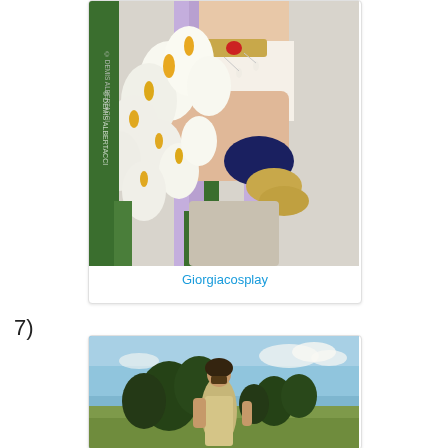[Figure (photo): Cosplay photo of a person with purple hair holding white lily flowers, wearing a decorative golden choker necklace with a red gem and pearl drop accessories. Watermark text reads © DEMIS ALBERTACCI vertically on the left side.]
Giorgiacosplay
7)
[Figure (photo): Photo of a person in a light-colored dress standing outdoors in a field or park setting, with trees and a blue sky with clouds in the background. The person appears to be wearing a mask or headpiece.]